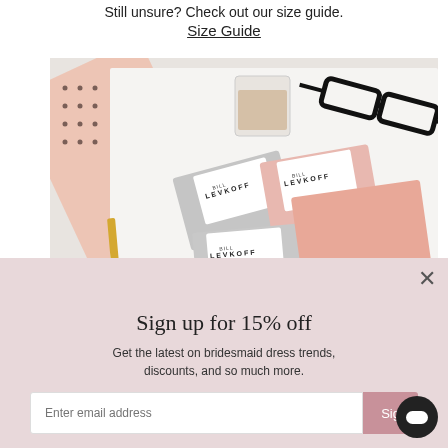Still unsure? Check out our size guide.
Size Guide
[Figure (photo): Flatlay photo of fabric swatches branded 'BILL LEVKOFF' in gray and blush pink, alongside a polka-dot notebook, gold pen, small glass jar with decorative elements, and black-rimmed glasses on a white surface.]
Sign up for 15% off
Get the latest on bridesmaid dress trends, discounts, and so much more.
Enter email address
Sign